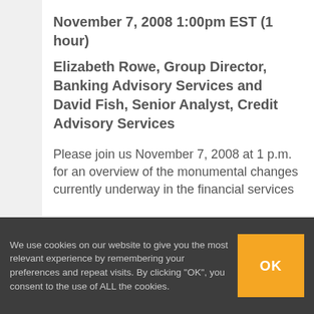November 7, 2008 1:00pm EST (1 hour)
Elizabeth Rowe, Group Director, Banking Advisory Services and David Fish, Senior Analyst, Credit Advisory Services
Please join us November 7, 2008 at 1 p.m. for an overview of the monumental changes currently underway in the financial services
We use cookies on our website to give you the most relevant experience by remembering your preferences and repeat visits. By clicking "OK", you consent to the use of ALL the cookies.